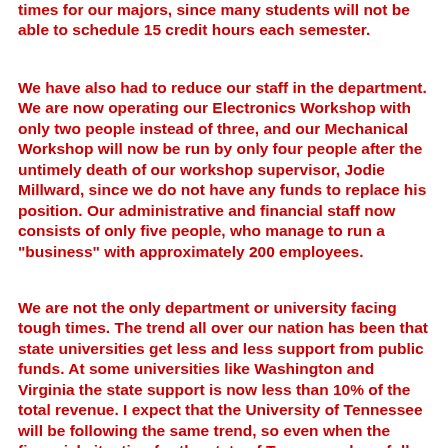times for our majors, since many students will not be able to schedule 15 credit hours each semester.
We have also had to reduce our staff in the department. We are now operating our Electronics Workshop with only two people instead of three, and our Mechanical Workshop will now be run by only four people after the untimely death of our workshop supervisor, Jodie Millward, since we do not have any funds to replace his position. Our administrative and financial staff now consists of only five people, who manage to run a "business" with approximately 200 employees.
We are not the only department or university facing tough times. The trend all over our nation has been that state universities get less and less support from public funds. At some universities like Washington and Virginia the state support is now less than 10% of the total revenue. I expect that the University of Tennessee will be following the same trend, so even when the financial situation for the state of Tennessee hopefully gets better in a few years, I do not expect we will be able to fully recover, but it may help at some...